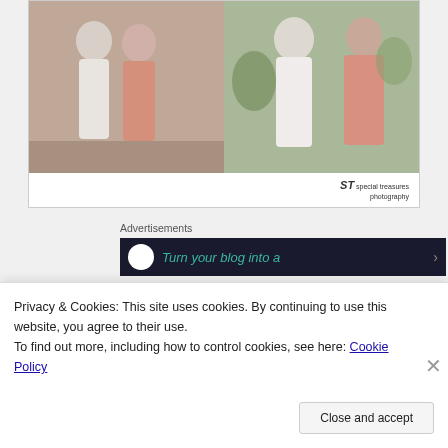[Figure (photo): Wedding photos: bride in white dress with bridesmaid in coral/salmon dress on left panel; bride and bridesmaid closeup on right panel. Special Treasures Photography watermark visible bottom right.]
Advertisements
[Figure (screenshot): Dark advertisement banner reading 'Turn your blog into a' with teal italic text and a white circle logo on dark navy background]
[Figure (photo): Wedding detail photos in black and white: left panel shows a flat lay item, right panel shows floral arrangement/bouquet]
Privacy & Cookies: This site uses cookies. By continuing to use this website, you agree to their use.
To find out more, including how to control cookies, see here: Cookie Policy
Close and accept